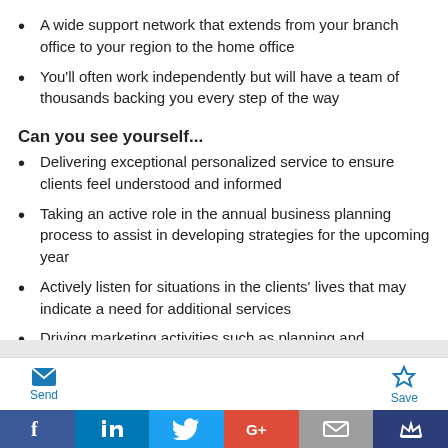A wide support network that extends from your branch office to your region to the home office
You'll often work independently but will have a team of thousands backing you every step of the way
Can you see yourself...
Delivering exceptional personalized service to ensure clients feel understood and informed
Taking an active role in the annual business planning process to assist in developing strategies for the upcoming year
Actively listen for situations in the clients' lives that may indicate a need for additional services
Driving marketing activities such as planning and
development reflecting a respect for individuals and their
Social share bar: Facebook, LinkedIn, Twitter, Google+, Email, Crown